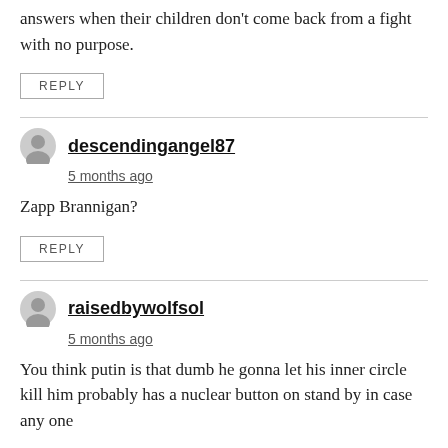answers when their children don't come back from a fight with no purpose.
REPLY
descendingangel87
5 months ago
Zapp Brannigan?
REPLY
raisedbywolfsol
5 months ago
You think putin is that dumb he gonna let his inner circle kill him probably has a nuclear button on stand by in case any one